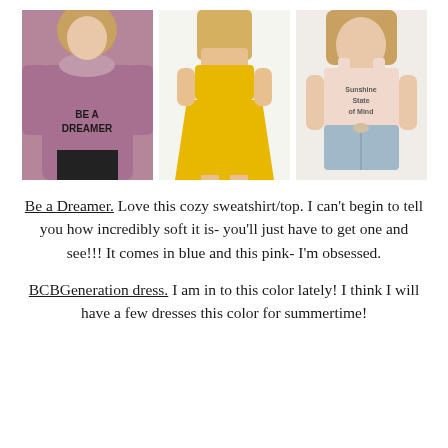[Figure (photo): Three fashion photos side by side: (1) woman in mauve/pink sweatshirt with text 'BE A DREAMER', (2) woman in yellow short dress, (3) woman in light pink tank top reading 'Sunshine State of Mind' with denim shorts]
Be a Dreamer. Love this cozy sweatshirt/top. I can't begin to tell you how incredibly soft it is- you'll just have to get one and see!!! It comes in blue and this pink- I'm obsessed.
BCBGeneration dress. I am in to this color lately! I think I will have a few dresses this color for summertime!